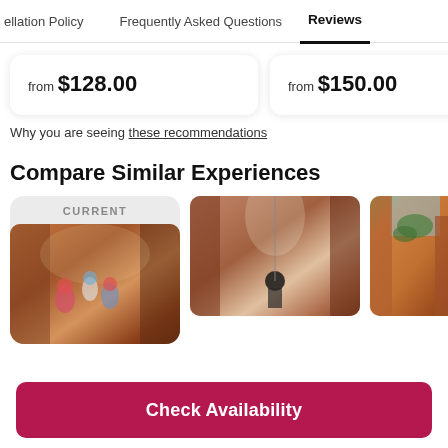ellation Policy   Frequently Asked Questions   Reviews
from $128.00
from $150.00
Why you are seeing these recommendations
Compare Similar Experiences
CURRENT
[Figure (photo): People in a slot canyon with climbing gear and helmets]
[Figure (photo): Person rappelling in a narrow slot canyon with red/orange sandstone walls]
[Figure (photo): Red rock canyon with green vegetation]
Check Availability